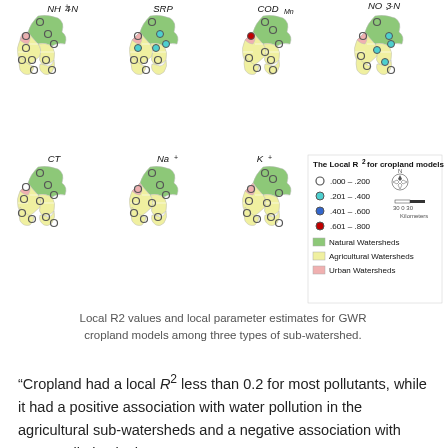[Figure (map): Eight maps showing Local R2 values and local parameter estimates for GWR cropland models across sub-watersheds. Maps labeled NH4+-N, SRP, CODMn, NO3--N (top row) and CT, Na+, K+ (bottom row) plus a legend. Watersheds colored green (Natural), yellow (Agricultural), pink (Urban). Circles at monitoring points colored by R2 range: white (.000-.200), teal (.201-.400), blue (.401-.600), red (.601-.800).]
Local R2 values and local parameter estimates for GWR cropland models among three types of sub-watershed.
“Cropland had a local R2 less than 0.2 for most pollutants, while it had a positive association with water pollution in the agricultural sub-watersheds and a negative association with water pollution in the non-